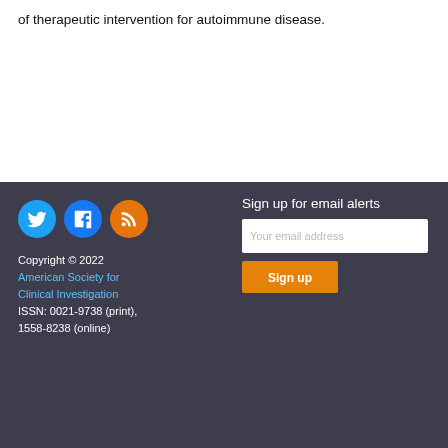of therapeutic intervention for autoimmune disease.
Sign up for email alerts | Copyright © 2022 American Society for Clinical Investigation | ISSN: 0021-9738 (print), 1558-8238 (online)